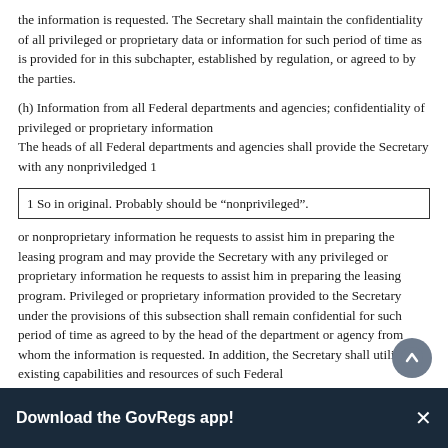the information is requested. The Secretary shall maintain the confidentiality of all privileged or proprietary data or information for such period of time as is provided for in this subchapter, established by regulation, or agreed to by the parties.
(h) Information from all Federal departments and agencies; confidentiality of privileged or proprietary information
The heads of all Federal departments and agencies shall provide the Secretary with any nonpriviledged 1
1 So in original. Probably should be “nonprivileged”.
or nonproprietary information he requests to assist him in preparing the leasing program and may provide the Secretary with any privileged or proprietary information he requests to assist him in preparing the leasing program. Privileged or proprietary information provided to the Secretary under the provisions of this subsection shall remain confidential for such period of time as agreed to by the head of the department or agency from whom the information is requested. In addition, the Secretary shall utilize the existing capabilities and resources of such Federal
Download the GovRegs app!